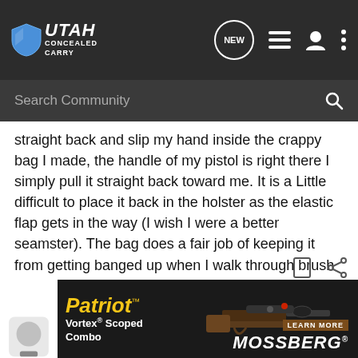Utah Concealed Carry — Search Community
straight back and slip my hand inside the crappy bag I made, the handle of my pistol is right there I simply pull it straight back toward me. It is a Little difficult to place it back in the holster as the elastic flap gets in the way (I wish I were a better seamster). The bag does a fair job of keeping it from getting banged up when I walk through brush or fall on my ***.
I have also made a rig to hold a Marlin 1894 and an AR15 carbine too but have yet to fashion an enclosure for them for I lack the sewing skill.
[Figure (screenshot): Advertisement banner for Mossberg Patriot Vortex Scoped Combo rifle with a photo of the rifle and 'LEARN MORE' button]